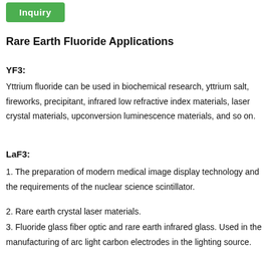[Figure (other): Green button labeled 'Inquiry']
Rare Earth Fluoride Applications
YF3:
Yttrium fluoride can be used in biochemical research, yttrium salt, fireworks, precipitant, infrared low refractive index materials, laser crystal materials, upconversion luminescence materials, and so on.
LaF3:
1. The preparation of modern medical image display technology and the requirements of the nuclear science scintillator.
2. Rare earth crystal laser materials.
3. Fluoride glass fiber optic and rare earth infrared glass. Used in the manufacturing of arc light carbon electrodes in the lighting source.